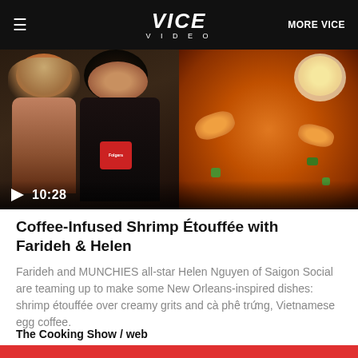VICE VIDEO | MORE VICE
[Figure (photo): Video thumbnail showing two women smiling, one holding a red Folgers coffee mug, alongside a close-up of shrimp étouffée dish with egg. Play button overlay showing duration 10:28.]
Coffee-Infused Shrimp Étouffée with Farideh & Helen
Farideh and MUNCHIES all-star Helen Nguyen of Saigon Social are teaming up to make some New Orleans-inspired dishes: shrimp étouffée over creamy grits and cà phê trứng, Vietnamese egg coffee.
The Cooking Show / web